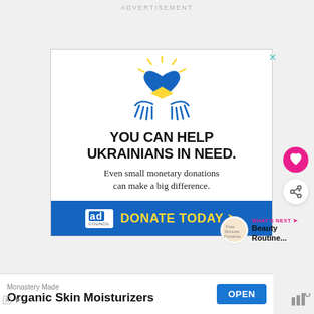ADVERTISEMENT
[Figure (illustration): Ad Council Ukraine donation advertisement. Shows two hands cradling a heart icon with Ukrainian flag colors (blue and yellow), with rays emanating from the heart. Large bold text: YOU CAN HELP UKRAINIANS IN NEED. Subtext: Even small monetary donations can make a big difference. Blue bar at bottom with Ad Council logo and yellow text: DONATE TODAY →]
[Figure (infographic): Pink circular heart/like button icon on right side]
[Figure (infographic): White circular share button with share icon and plus symbol on right side]
WHAT'S NEXT → Beauty Routine...
Monastery Made Organic Skin Moisturizers
OPEN